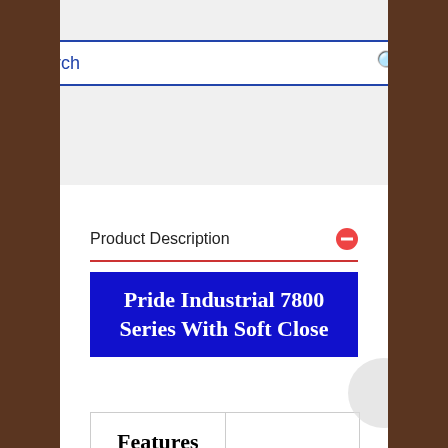[Figure (screenshot): Search bar with blue border and magnifying glass icon]
ADD TO CART
Product Description
[Figure (infographic): Blue banner with white bold text: Pride Industrial 7800 Series With Soft Close]
| Features |  |
| --- | --- |